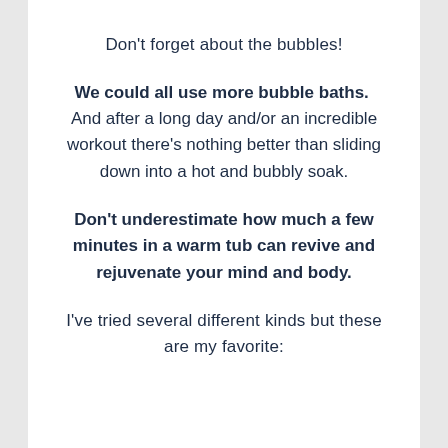Don't forget about the bubbles!
We could all use more bubble baths. And after a long day and/or an incredible workout there's nothing better than sliding down into a hot and bubbly soak.
Don't underestimate how much a few minutes in a warm tub can revive and rejuvenate your mind and body.
I've tried several different kinds but these are my favorite: